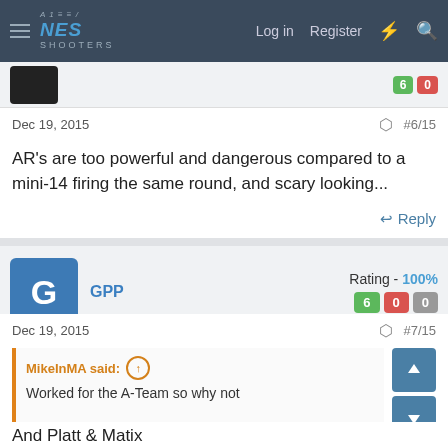NES Shooters — Log in  Register
Dec 19, 2015  #6/15
AR's are too powerful and dangerous compared to a mini-14 firing the same round, and scary looking...
Reply
GPP  Rating - 100%  6  0  0
Dec 19, 2015  #7/15
MikeInMA said:  Worked for the A-Team so why not
And Platt & Matix